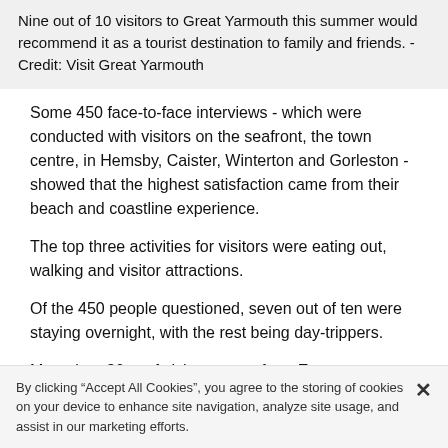Nine out of 10 visitors to Great Yarmouth this summer would recommend it as a tourist destination to family and friends. - Credit: Visit Great Yarmouth
Some 450 face-to-face interviews - which were conducted with visitors on the seafront, the town centre, in Hemsby, Caister, Winterton and Gorleston - showed that the highest satisfaction came from their beach and coastline experience.
The top three activities for visitors were eating out, walking and visitor attractions.
Of the 450 people questioned, seven out of ten were staying overnight, with the rest being day-trippers.
More than 80pc of visitors came from Essex,
By clicking “Accept All Cookies”, you agree to the storing of cookies on your device to enhance site navigation, analyze site usage, and assist in our marketing efforts.